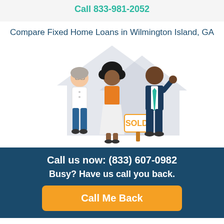Call 833-981-2052
Compare Fixed Home Loans in Wilmington Island, GA
[Figure (illustration): Illustration of three people in front of a house outline. An older man on the left in white shirt and blue pants, a woman in the center wearing an orange top and white skirt, and a man on the right in a dark navy suit with a teal tie. A 'SOLD!' sign is visible in front of them, with a large house silhouette in the background.]
Call us now: (833) 607-0982
Busy? Have us call you back.
Call Me Back